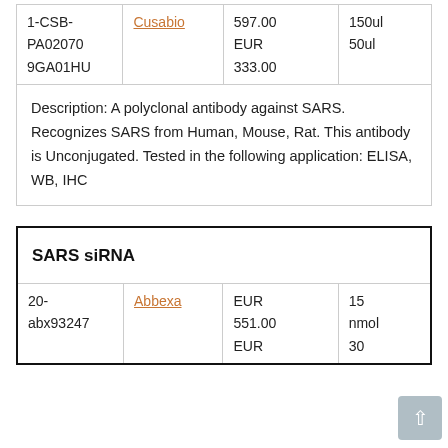| Catalog | Supplier | Price | Size |
| --- | --- | --- | --- |
| 1-CSB-PA02070
9GA01HU | Cusabio | 597.00
EUR
333.00 | 150ul
50ul |
Description: A polyclonal antibody against SARS. Recognizes SARS from Human, Mouse, Rat. This antibody is Unconjugated. Tested in the following application: ELISA, WB, IHC
| SARS siRNA |
| --- |
| 20-
abx93247 | Abbexa | EUR
551.00
EUR | 15
nmol
30 |